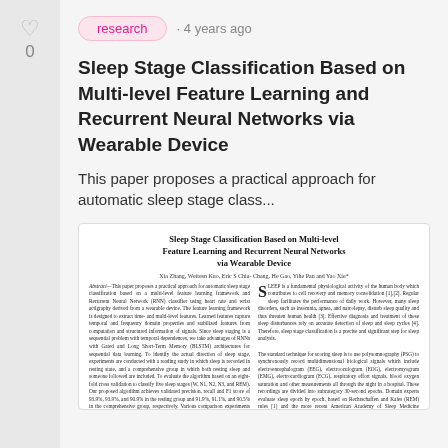research · 4 years ago
Sleep Stage Classification Based on Multi-level Feature Learning and Recurrent Neural Networks via Wearable Device
This paper proposes a practical approach for automatic sleep stage class...
[Figure (screenshot): Thumbnail preview of the paper showing its title, authors, abstract in two-column layout with drop cap S for the introduction section.]